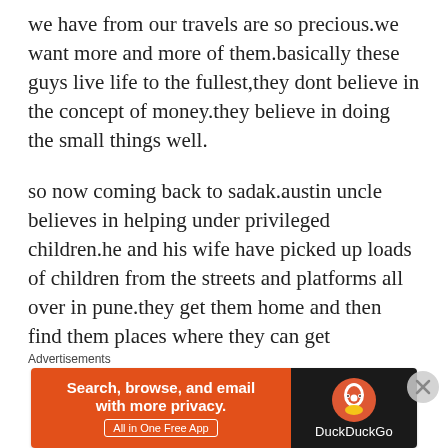we have from our travels are so precious.we want more and more of them.basically these guys live life to the fullest,they dont believe in the concept of money.they believe in doing the small things well.
so now coming back to sadak.austin uncle believes in helping under privileged children.he and his wife have picked up loads of children from the streets and platforms all over in pune.they get them home and then find them places where they can get shelter,food and education.they told me about this girl they found on the railway tracks.she was around 6months,bitten everywhere,her chin was broken.they got her home she was with them for around 2 years after that they send her in one of the
Advertisements
[Figure (other): DuckDuckGo advertisement banner: orange left section with text 'Search, browse, and email with more privacy.' and 'All in One Free App', dark right section with DuckDuckGo logo and name.]